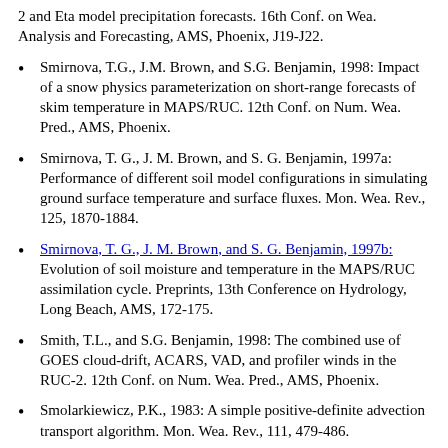2 and Eta model precipitation forecasts. 16th Conf. on Wea. Analysis and Forecasting, AMS, Phoenix, J19-J22.
Smirnova, T.G., J.M. Brown, and S.G. Benjamin, 1998: Impact of a snow physics parameterization on short-range forecasts of skim temperature in MAPS/RUC. 12th Conf. on Num. Wea. Pred., AMS, Phoenix.
Smirnova, T. G., J. M. Brown, and S. G. Benjamin, 1997a: Performance of different soil model configurations in simulating ground surface temperature and surface fluxes. Mon. Wea. Rev., 125, 1870-1884.
Smirnova, T. G., J. M. Brown, and S. G. Benjamin, 1997b: Evolution of soil moisture and temperature in the MAPS/RUC assimilation cycle. Preprints, 13th Conference on Hydrology, Long Beach, AMS, 172-175.
Smith, T.L., and S.G. Benjamin, 1998: The combined use of GOES cloud-drift, ACARS, VAD, and profiler winds in the RUC-2. 12th Conf. on Num. Wea. Pred., AMS, Phoenix.
Smolarkiewicz, P.K., 1983: A simple positive-definite advection transport algorithm. Mon. Wea. Rev., 111, 479-486.
Zapotocny, T.H., D.R. Johnson, and F.M. Reames, 1994: